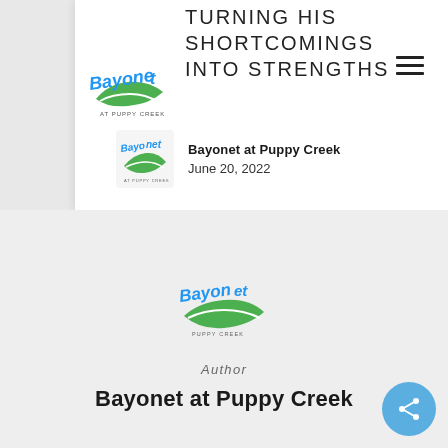[Figure (logo): Bayonet at Puppy Creek script logo with green and blue lettering, top left of white card]
TURNING HIS SHORTCOMINGS INTO STRENGTHS
[Figure (logo): Bayonet at Puppy Creek small logo icon in article meta row]
Bayonet at Puppy Creek
June 20, 2022
[Figure (logo): Bayonet at Puppy Creek centered logo in lower section]
Author
Bayonet at Puppy Creek